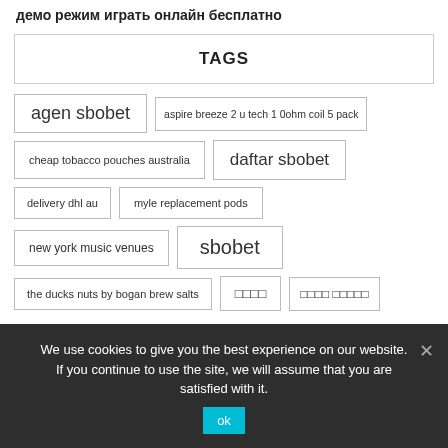демо режим играть онлайн бесплатно
TAGS
agen sbobet
aspire breeze 2 u tech 1 0ohm coil 5 pack
cheap tobacco pouches australia
daftar sbobet
delivery dhl au
myle replacement pods
new york music venues
sbobet
the ducks nuts by bogan brew salts
□□□□
□□□□ □□□□□
We use cookies to give you the best experience on our website. If you continue to use the site, we will assume that you are satisfied with it.